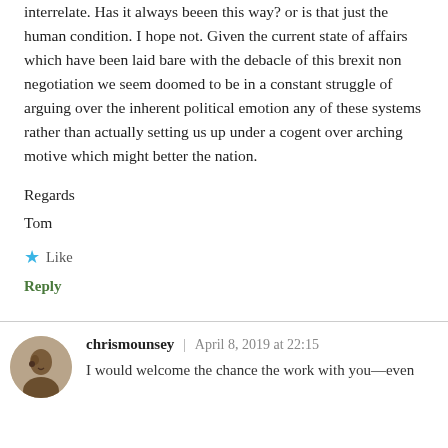interrelate. Has it always beeen this way? or is that just the human condition. I hope not. Given the current state of affairs which have been laid bare with the debacle of this brexit non negotiation we seem doomed to be in a constant struggle of arguing over the inherent political emotion any of these systems rather than actually setting us up under a cogent over arching motive which might better the nation.
Regards
Tom
★ Like
Reply
chrismounsey | April 8, 2019 at 22:15
I would welcome the chance the work with you—even